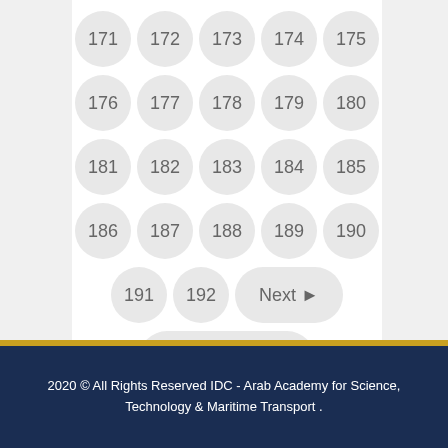171 172 173 174 175
176 177 178 179 180
181 182 183 184 185
186 187 188 189 190
191 192 Next Last Page
2020 © All Rights Reserved IDC - Arab Academy for Science, Technology & Maritime Transport .